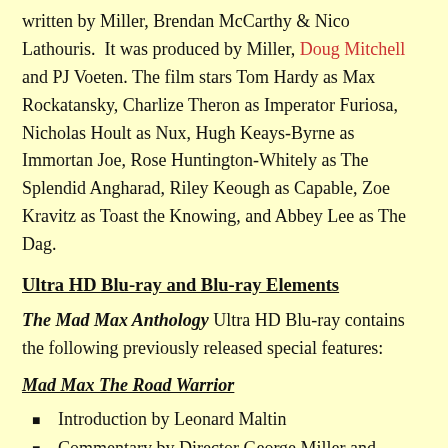written by Miller, Brendan McCarthy & Nico Lathouris. It was produced by Miller, Doug Mitchell and PJ Voeten. The film stars Tom Hardy as Max Rockatansky, Charlize Theron as Imperator Furiosa, Nicholas Hoult as Nux, Hugh Keays-Byrne as Immortan Joe, Rose Huntington-Whitely as The Splendid Angharad, Riley Keough as Capable, Zoe Kravitz as Toast the Knowing, and Abbey Lee as The Dag.
Ultra HD Blu-ray and Blu-ray Elements
The Mad Max Anthology Ultra HD Blu-ray contains the following previously released special features:
Mad Max The Road Warrior
Introduction by Leonard Maltin
Commentary by Director George Miller and Cinematographer Dean Semler
Road War: The Making of Road Warrior